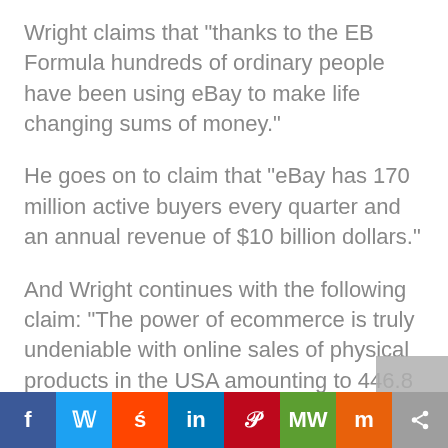Wright claims that “thanks to the EB Formula hundreds of ordinary people have been using eBay to make life changing sums of money.”
He goes on to claim that “eBay has 170 million active buyers every quarter and an annual revenue of $10 billion dollars.”
And Wright continues with the following claim: “The power of ecommerce is truly undeniable with online sales of physical products in the USA amounting to 446.8